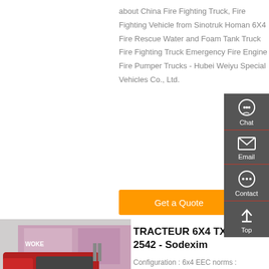about China Fire Fighting Truck, Fire Fighting Vehicle from Sinotruk Homan 6X4 Fire Rescue Water and Foam Tank Truck Fire Fighting Truck Emergency Fire Engine Fire Pumper Trucks - Hubei Weiyu Special Vehicles Co., Ltd.
[Figure (other): Orange 'Get a Quote' button]
[Figure (photo): Red 6x4 tractor truck (rear three-quarter view) parked in a commercial yard with pink/purple building facade and other trucks visible in background]
TRACTEUR 6X4 TX 2542 - Sodexim
Configuration : 6x4 EEC norms : 2 (sans electronique Engine : 6